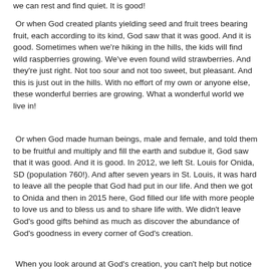we can rest and find quiet. It is good!
Or when God created plants yielding seed and fruit trees bearing fruit, each according to its kind, God saw that it was good. And it is good. Sometimes when we're hiking in the hills, the kids will find wild raspberries growing. We've even found wild strawberries. And they're just right. Not too sour and not too sweet, but pleasant. And this is just out in the hills. With no effort of my own or anyone else, these wonderful berries are growing. What a wonderful world we live in!
Or when God made human beings, male and female, and told them to be fruitful and multiply and fill the earth and subdue it, God saw that it was good. And it is good. In 2012, we left St. Louis for Onida, SD (population 760!). And after seven years in St. Louis, it was hard to leave all the people that God had put in our life. And then we got to Onida and then in 2015 here, God filled our life with more people to love us and to bless us and to share life with. We didn't leave God's good gifts behind as much as discover the abundance of God's goodness in every corner of God's creation.
When you look around at God's creation, you can't help but notice